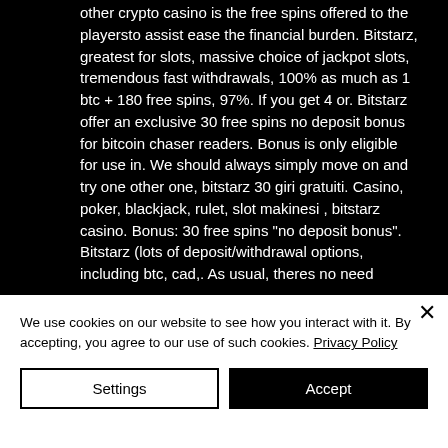other crypto casino is the free spins offered to the playersto assist ease the financial burden. Bitstarz, greatest for slots, massive choice of jackpot slots, tremendous fast withdrawals, 100% as much as 1 btc + 180 free spins, 97%. If you get 4 or. Bitstarz offer an exclusive 30 free spins no deposit bonus for bitcoin chaser readers. Bonus is only eligible for use in. We should always simply move on and try one other one, bitstarz 30 giri gratuiti. Casino, poker, blackjack, rulet, slot makinesi , bitstarz casino. Bonus: 30 free spins &quot;no deposit bonus&quot;. Bitstarz (lots of deposit/withdrawal options, including btc, cad,. As usual, theres no need
We use cookies on our website to see how you interact with it. By accepting, you agree to our use of such cookies. Privacy Policy